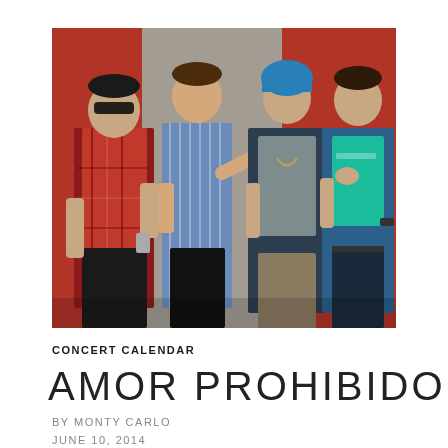[Figure (photo): Four young men standing against a red and grey wall. From left: man in red plaid shirt with sunglasses and cigarette; man in blue striped shirt pointing at camera; man in grey t-shirt and dark jacket with blue hat; man in teal t-shirt and denim jacket with hand on chest.]
CONCERT CALENDAR
AMOR PROHIBIDO
BY MONTY CARLO
JUNE 10, 2014